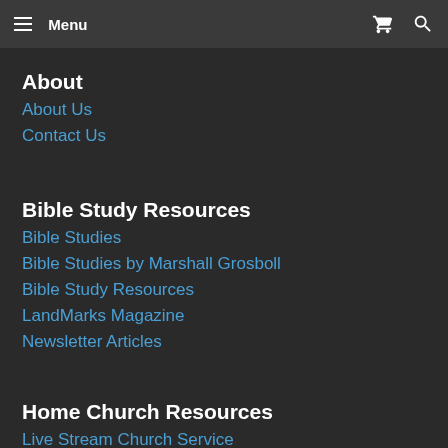Menu
About
About Us
Contact Us
Bible Study Resources
Bible Studies
Bible Studies by Marshall Grosboll
Bible Study Resources
LandMarks Magazine
Newsletter Articles
Home Church Resources
Live Stream Church Service
YouTube Channel
Who and What is the Church